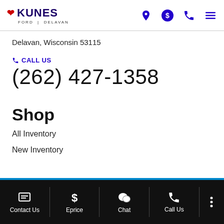Kunes Ford Delavan
Delavan, Wisconsin 53115
CALL US
(262) 427-1358
Shop
All Inventory
New Inventory
Contact Us | Eprice | Chat | Call Us | More